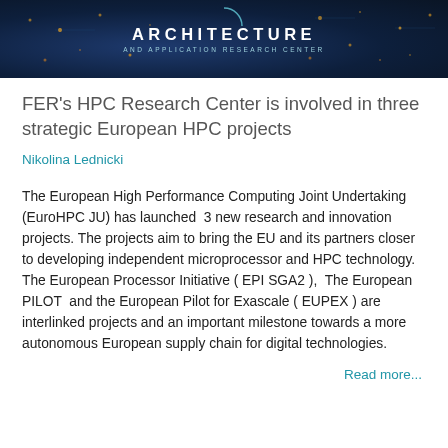[Figure (illustration): Banner image with dark blue circuit board background and text 'ARCHITECTURE AND APPLICATION RESEARCH CENTER']
FER's HPC Research Center is involved in three strategic European HPC projects
Nikolina Lednicki
The European High Performance Computing Joint Undertaking (EuroHPC JU) has launched  3 new research and innovation projects. The projects aim to bring the EU and its partners closer to developing independent microprocessor and HPC technology. The European Processor Initiative ( EPI SGA2 ),  The European PILOT  and the European Pilot for Exascale ( EUPEX ) are interlinked projects and an important milestone towards a more autonomous European supply chain for digital technologies.
Read more...